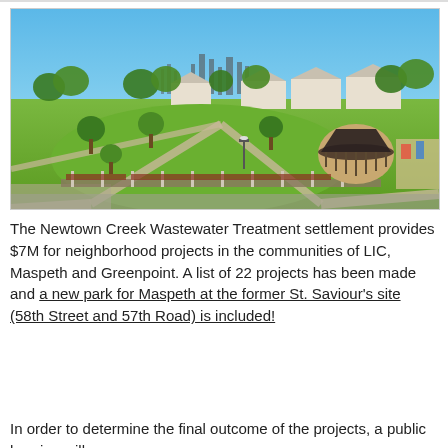[Figure (photo): Aerial view of a park with green lawns, walking paths, trees, a circular pavilion structure on the right, residential houses and a city skyline in the background under a clear blue sky.]
The Newtown Creek Wastewater Treatment settlement provides $7M for neighborhood projects in the communities of LIC, Maspeth and Greenpoint. A list of 22 projects has been made and a new park for Maspeth at the former St. Saviour's site (58th Street and 57th Road) is included!
In order to determine the final outcome of the projects, a public hearing will